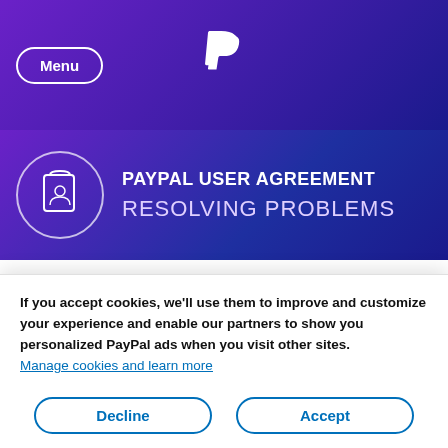Menu | PayPal
PAYPAL USER AGREEMENT
RESOLVING PROBLEMS
charges and other amounts incurred through the use of your account at any time, irrespective of termination, suspension or closure.
If you accept cookies, we'll use them to improve and customize your experience and enable our partners to show you personalized PayPal ads when you visit other sites. Manage cookies and learn more
Decline | Accept